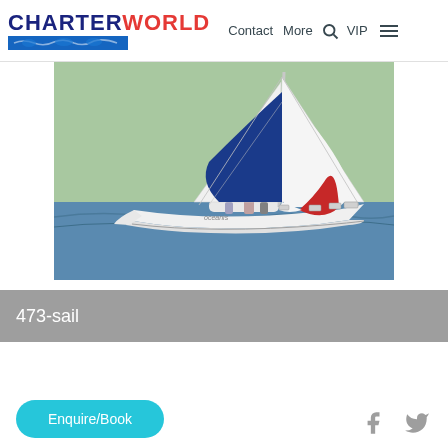CHARTERWORLD | Contact | More | VIP
[Figure (photo): Sailboat with white hull and blue/red spinnaker sail on calm water, several crew members visible on deck]
473-sail
Enquire/Book
Facebook and Twitter social icons